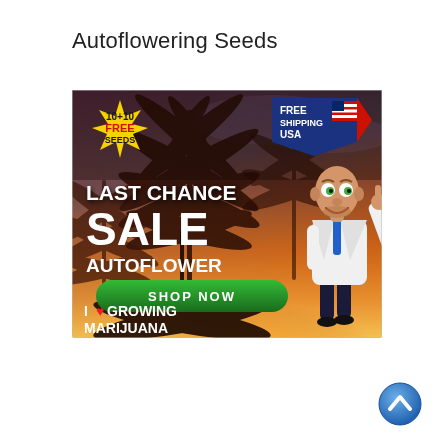Autoflowering Seeds
[Figure (illustration): Advertisement banner for 'I Love Growing Marijuana' featuring cannabis plant silhouettes against a sunset background. Top-left has a yellow starburst badge reading '10+10 FREE SEEDS'. Top-right has a 'FREE SHIPPING USA' badge with American flag design. Center text reads 'LAST CHANCE SALE AUTOFLOWER' in large white bold letters. A green rounded button reads 'SHOP NOW'. Bottom-left shows 'I [heart] GROWING MARIJUANA' branding. A cartoon doctor character stands on the right side pointing upward.]
[Figure (illustration): Blue circular scroll-to-top button with upward-pointing chevron arrow, positioned at bottom-right of page.]